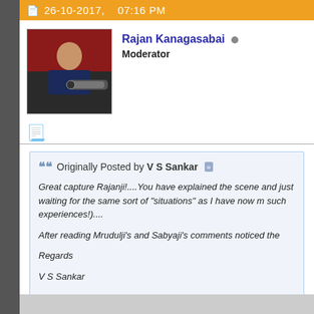26-10-2017,   07:16 PM
Rajan Kanagasabai
Moderator
[Figure (photo): Profile photo of Rajan Kanagasabai holding a large camera lens]
Originally Posted by V S Sankar
Great capture Rajanji!....You have explained the scene and just waiting for the same sort of "situations" as I have now m such experiences!)....

After reading Mrudulji's and Sabyaji's comments noticed the

Regards

V S Sankar
Thanks. Congrats on the new gear and look forward to your posts.